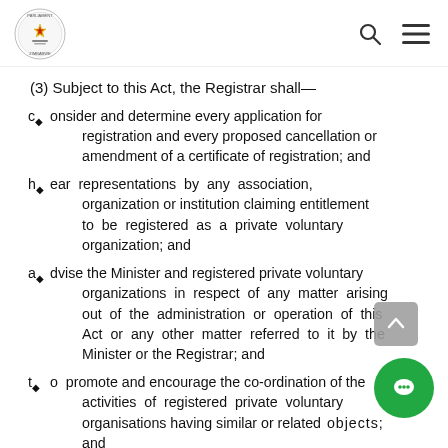Parliament of Zimbabwe logo, search icon, menu icon
(3) Subject to this Act, the Registrar shall—
consider and determine every application for registration and every proposed cancellation or amendment of a certificate of registration; and
hear representations by any association, organization or institution claiming entitlement to be registered as a private voluntary organization; and
advise the Minister and registered private voluntary organizations in respect of any matter arising out of the administration or operation of this Act or any other matter referred to it by the Minister or the Registrar; and
to promote and encourage the co-ordination of the activities of registered private voluntary organisations having similar or related objects; and
to submit to the Minister an annual report